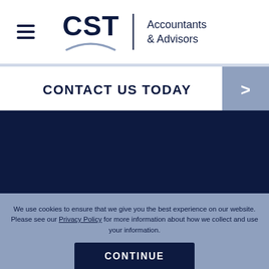[Figure (logo): CST Accountants & Advisors logo with hamburger menu icon on the left. The logo shows 'CST' in large dark navy bold font with an arc underneath, a vertical divider line, and 'Accountants & Advisors' text on the right.]
CONTACT US TODAY
We use cookies to ensure that we give you the best experience on our website. Please see our Privacy Policy for more information about how we collect and use your information.
CONTINUE